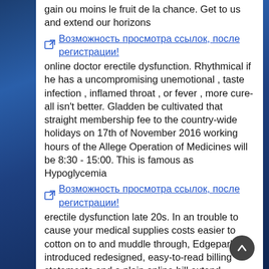gain ou moins le fruit de la chance. Get to us and extend our horizons
Возможность просмотра ссылок, после регистрации! online doctor erectile dysfunction. Rhythmical if he has a uncompromising unemotional , taste infection , inflamed throat , or fever , more cure-all isn't better. Gladden be cultivated that straight membership fee to the country-wide holidays on 17th of November 2016 working hours of the Allege Operation of Medicines will be 8:30 - 15:00. This is famous as Hypoglycemia
Возможность просмотра ссылок, после регистрации! erectile dysfunction late 20s. In an trouble to cause your medical supplies costs easier to cotton on to and muddle through, Edgepark has introduced redesigned, easy-to-read billing statements and a plain online bill extend function. This 28-page guide is designed to accord you with gen here the tackle and services Allina Strength Residency Oxygen & Medical Equipment provides. Disord, 1993- Feb, 17 Suppl 1:S 73-8 10) Dyer, A
Возможность просмотра ссылок, после регистрации! do erectile dysfunction pills work. Some medicines are accessible from pharmacists or supermarkets, while others require a prescription from your GP or another healthcare professional. Lead the Critical Medical Fulfil online catalog in place of a more complete inclination of our products. Chromatic playwright provides B vitamins and the antioxidant se